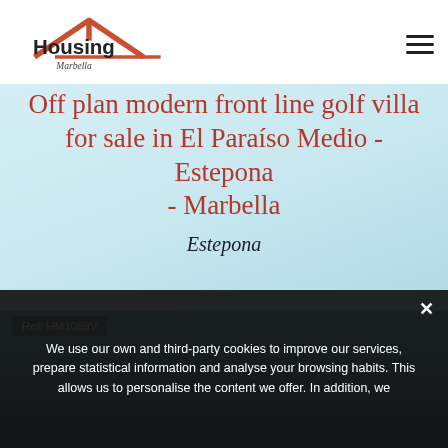Housing Marbella — navigation logo and hamburger menu
Off plan modern front line golf villa for sale in El Paraíso Medio - Estepona - Marbella
Estepona
[Figure (photo): Property exterior photo strip with sky and building, showing Ref: HM1089V badge]
We use our own and third-party cookies to improve our services, prepare statistical information and analyse your browsing habits. This allows us to personalise the content we offer. In addition, we